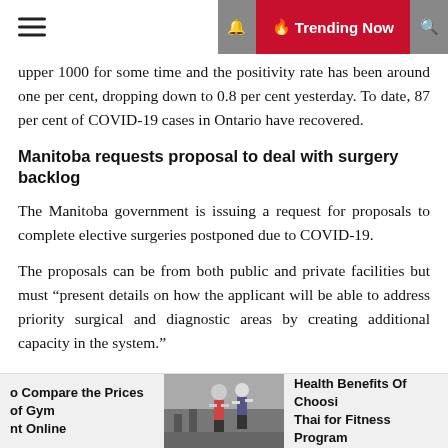Trending Now
upper 1000 for some time and the positivity rate has been around one per cent, dropping down to 0.8 per cent yesterday. To date, 87 per cent of COVID-19 cases in Ontario have recovered.
Manitoba requests proposal to deal with surgery backlog
The Manitoba government is issuing a request for proposals to complete elective surgeries postponed due to COVID-19.
The proposals can be from both public and private facilities but must “present details on how the applicant will be able to address priority surgical and diagnostic areas by creating additional capacity in the system.”
Services must be able to be delivered by Aug. 1.
[Figure (photo): Photo of people in a gym or fitness setting]
o Compare the Prices of Gym nt Online
Health Benefits Of Choosi Thai for Fitness Program